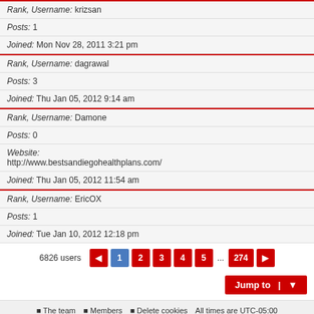Rank, Username: krizsan
Posts: 1
Joined: Mon Nov 28, 2011 3:21 pm
Rank, Username: dagrawal
Posts: 3
Joined: Thu Jan 05, 2012 9:14 am
Rank, Username: Damone
Posts: 0
Website: http://www.bestsandiegohealthplans.com/
Joined: Thu Jan 05, 2012 11:54 am
Rank, Username: EricOX
Posts: 1
Joined: Tue Jan 10, 2012 12:18 pm
6826 users  1 2 3 4 5 ... 274
Jump to
The team  Members  Delete cookies  All times are UTC-05:00
Powered by phpBB® Forum Software © phpBB Limited